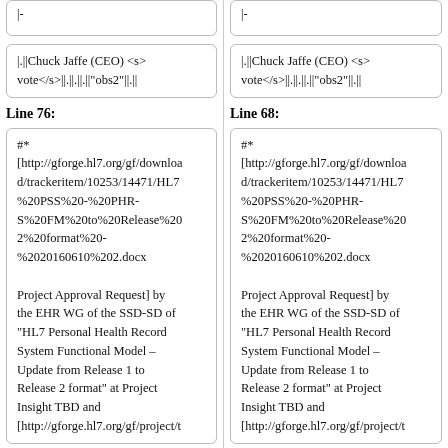|-
|-
|.||Chuck Jaffe (CEO) <s> vote</s>||.||.||.||"obs2"||.||
|.||Chuck Jaffe (CEO) <s> vote</s>||.||.||.||"obs2"||.||
Line 76:
Line 68:
#* [http://gforge.hl7.org/gf/download/trackeritem/10253/14471/HL7%20PSS%20-%20PHR-S%20FM%20to%20Release%202%20format%20-%2020160610%202.docx Project Approval Request] by the EHR WG of the SSD-SD of "HL7 Personal Health Record System Functional Model – Update from Release 1 to Release 2 format" at Project Insight TBD and [http://gforge.hl7.org/gf/project/t
#* [http://gforge.hl7.org/gf/download/trackeritem/10253/14471/HL7%20PSS%20-%20PHR-S%20FM%20to%20Release%202%20format%20-%2020160610%202.docx Project Approval Request] by the EHR WG of the SSD-SD of "HL7 Personal Health Record System Functional Model – Update from Release 1 to Release 2 format" at Project Insight TBD and [http://gforge.hl7.org/gf/project/t